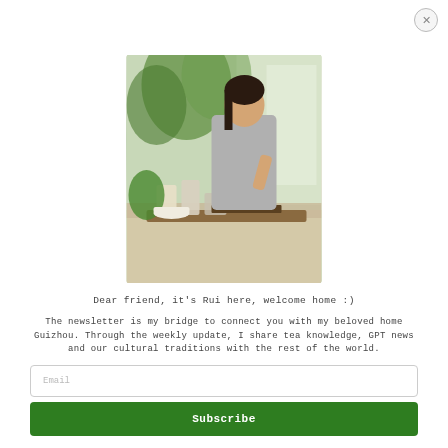[Figure (photo): A woman preparing tea at a table with jars and tea accessories, plants in the background, indoor setting]
Dear friend, it's Rui here, welcome home :)
The newsletter is my bridge to connect you with my beloved home Guizhou. Through the weekly update, I share tea knowledge, GPT news and our cultural traditions with the rest of the world.
Great offers are exclusively shared in our newsletter. By signing up below you'll also receive a 10% discount code.
I look forward to connecting with you through tea..